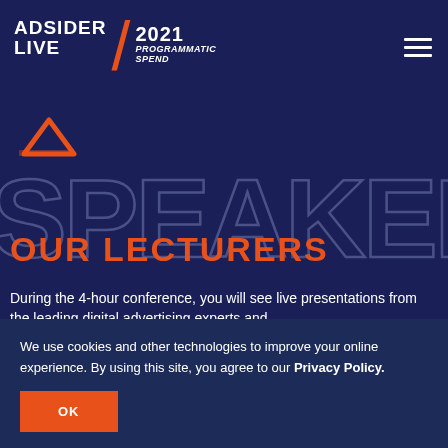ADSIDER LIVE / 2021 PROGRAMMATIC SPEND
[Figure (logo): ADSIDER LIVE logo with orange slash and 2021 PROGRAMMATIC SPEND text, hamburger menu icon on right]
SPEAKER
OUR LECTURERS
During the 4-hour conference, you will see live presentations from the leading digital advertising experts and...
We use cookies and other technologies to improve your online experience. By using this site, you agree to our Privacy Policy.